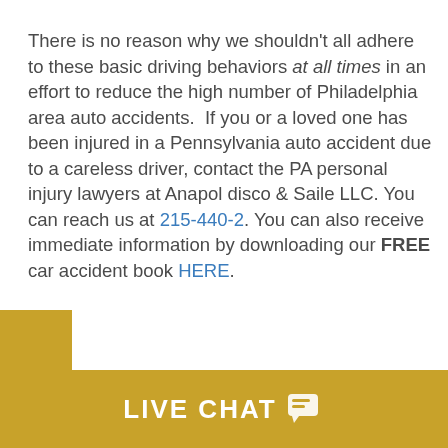There is no reason why we shouldn't all adhere to these basic driving behaviors at all times in an effort to reduce the high number of Philadelphia area auto accidents.  If you or a loved one has been injured in a Pennsylvania auto accident due to a careless driver, contact the PA personal injury lawyers at Anapol disco & Saile LLC. You can reach us at 215-440-2. You can also receive immediate information by downloading our FREE car accident book HERE.
[Figure (other): Gold vertical sidebar button with white rotated text reading TEXT US]
LIVE CHAT